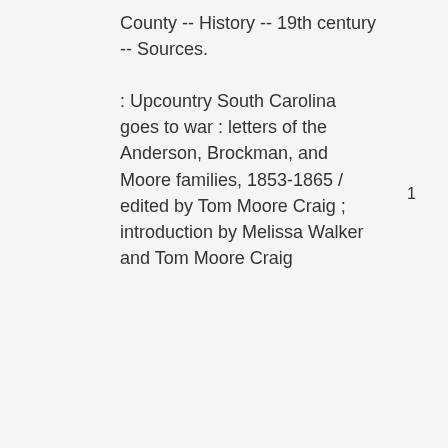County -- History -- 19th century -- Sources.
: Upcountry South Carolina goes to war : letters of the Anderson, Brockman, and Moore families, 1853-1865 / edited by Tom Moore Craig ; introduction by Melissa Walker and Tom Moore Craig
1